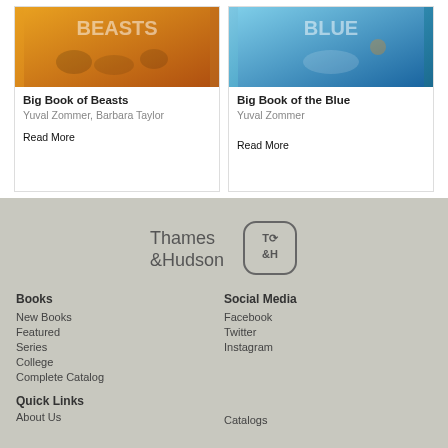[Figure (illustration): Book cover for Big Book of Beasts with yellow/orange background and animal illustrations]
Big Book of Beasts
Yuval Zommer, Barbara Taylor
Read More
[Figure (illustration): Book cover for Big Book of the Blue with blue ocean background and marine life illustrations]
Big Book of the Blue
Yuval Zommer
Read More
[Figure (logo): Thames & Hudson publisher logo text and circular T&H emblem]
Books
New Books
Featured
Series
College
Complete Catalog
Social Media
Facebook
Twitter
Instagram
Quick Links
About Us
Catalogs